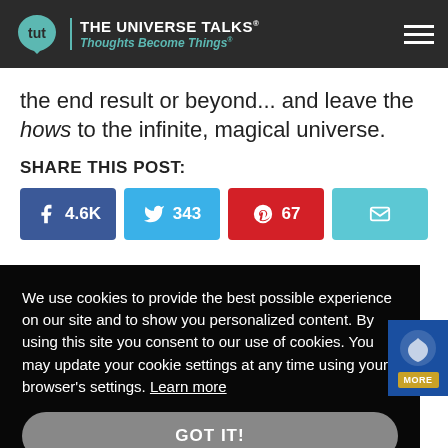THE UNIVERSE TALKS® Thoughts Become Things®
the end result or beyond... and leave the hows to the infinite, magical universe.
SHARE THIS POST:
[Figure (infographic): Social share buttons: Facebook 4.6K, Twitter 343, Pinterest 67, Email]
We use cookies to provide the best possible experience on our site and to show you personalized content. By using this site you consent to our use of cookies. You may update your cookie settings at any time using your browser's settings. Learn more
GOT IT!